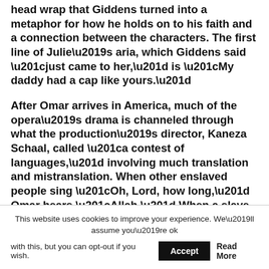head wrap that Giddens turned into a metaphor for how he holds on to his faith and a connection between the characters. The first line of Julie’s aria, which Giddens said “just came to her,” is “My daddy had a cap like yours.”
After Omar arrives in America, much of the opera’s drama is channeled through what the production’s director, Kaneza Schaal, called “a contest of languages,” involving much translation and mistranslation. When other enslaved people sing “Oh, Lord, how long,” Omar hears “Allah.” When a slave owner asks Omar to write the “Lord is my shepherd” in Arabic, what he actually writes (in a script the owner can’t read) is “I want to go home.” Omar’s journey, translated into opera, becomes about finding a language to hold together all
This website uses cookies to improve your experience. We’ll assume you’re ok with this, but you can opt-out if you wish. Accept Read More